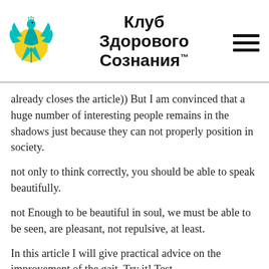Клуб Здорового Сознания™
already closes the article)) But I am convinced that a huge number of interesting people remains in the shadows just because they can not properly position in society.
not only to think correctly, you should be able to speak beautifully.
not Enough to be beautiful in soul, we must be able to be seen, are pleasant, not repulsive, at least.
In this article I will give practical advice on the improvement of the gait. Try it! Test